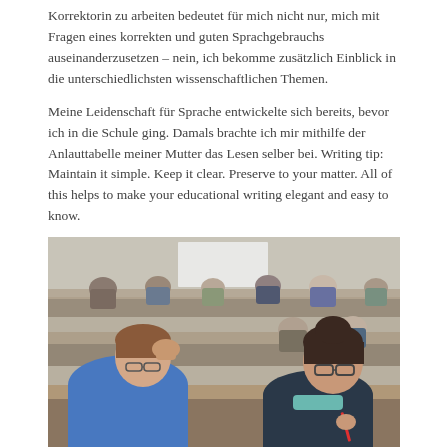Korrektorin zu arbeiten bedeutet für mich nicht nur, mich mit Fragen eines korrekten und guten Sprachgebrauchs auseinanderzusetzen – nein, ich bekomme zusätzlich Einblick in die unterschiedlichsten wissenschaftlichen Themen.
Meine Leidenschaft für Sprache entwickelte sich bereits, bevor ich in die Schule ging. Damals brachte ich mir mithilfe der Anlauttabelle meiner Mutter das Lesen selber bei. Writing tip: Maintain it simple. Keep it clear. Preserve to your matter. All of this helps to make your educational writing elegant and easy to know.
[Figure (photo): Students sitting at desks in a lecture hall or classroom, writing or studying. In the foreground, a person in a blue hoodie rests their hand on their head. To the right, a student with glasses looks down at paper. More students are visible in the background.]